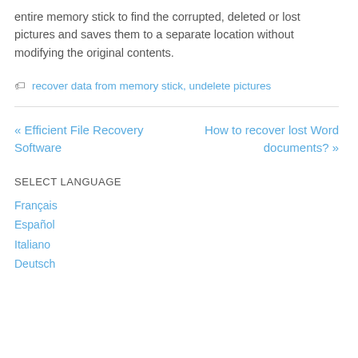entire memory stick to find the corrupted, deleted or lost pictures and saves them to a separate location without modifying the original contents.
🏷 recover data from memory stick, undelete pictures
« Efficient File Recovery Software
How to recover lost Word documents? »
SELECT LANGUAGE
Français
Español
Italiano
Deutsch